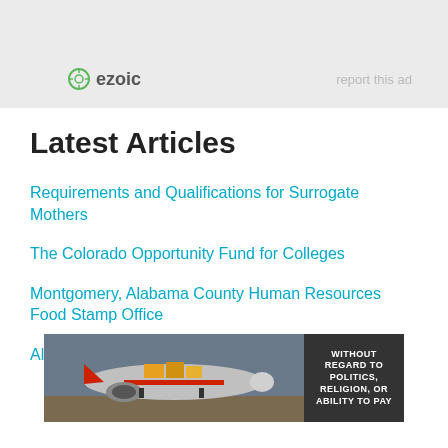[Figure (logo): Ezoic logo with circular icon and bold text 'ezoic']
report this ad
Latest Articles
Requirements and Qualifications for Surrogate Mothers
The Colorado Opportunity Fund for Colleges
Montgomery, Alabama County Human Resources Food Stamp Office
All you need to know about CDG grants
[Figure (photo): Advertisement banner showing a Southwest Airlines cargo plane being loaded at an airport, with dark panel on the right reading 'WITHOUT REGARD TO POLITICS, RELIGION, OR ABILITY TO PAY']